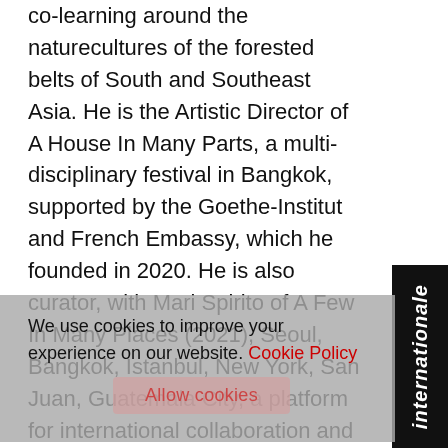co-learning around the naturecultures of the forested belts of South and Southeast Asia. He is the Artistic Director of A House In Many Parts, a multi-disciplinary festival in Bangkok, supported by the Goethe-Institut and French Embassy, which he founded in 2020. He is also curator, with Mari Spirito of A Few In Many Places (2021), Seoul, Bangkok, Istanbul, New York, San Juan, Guatemala City, a platform for international collaboration and collective practice, conceived by Protocinema. He has previously worked with the Dh Art Summit, Bangladesh; Bellas Artes Projects, Mani and Bataan, the Philippines; Council, Paris; and Asia Archive. Selected recent exhibitions include In The Forest, Even The Air Breathes, GAMeC, Bergamo, Ita (2020); Minor Infelicities, Ujeongkuk, Seoul, South Korea (2020); Southern Constellations, Museum of
We use cookies to improve your experience on our website. Cookie Policy
Allow cookies
internationale